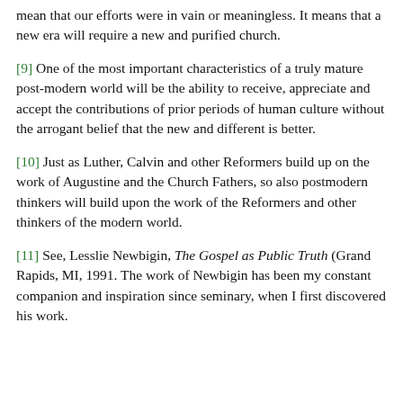mean that our efforts were in vain or meaningless. It means that a new era will require a new and purified church.
[9] One of the most important characteristics of a truly mature post-modern world will be the ability to receive, appreciate and accept the contributions of prior periods of human culture without the arrogant belief that the new and different is better.
[10] Just as Luther, Calvin and other Reformers build up on the work of Augustine and the Church Fathers, so also postmodern thinkers will build upon the work of the Reformers and other thinkers of the modern world.
[11] See, Lesslie Newbigin, The Gospel as Public Truth (Grand Rapids, MI, 1991. The work of Newbigin has been my constant companion and inspiration since seminary, when I first discovered his work.